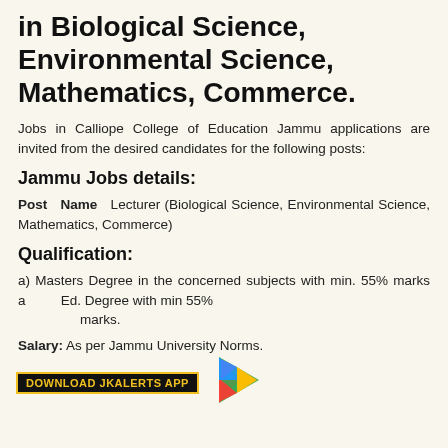in Biological Science, Environmental Science, Mathematics, Commerce.
Jobs in Calliope College of Education Jammu applications are invited from the desired candidates for the following posts:
Jammu Jobs details:
Post Name  Lecturer (Biological Science, Environmental Science, Mathematics, Commerce)
Qualification:
a) Masters Degree in the concerned subjects with min. 55% marks and B. Ed. Degree with min 55% marks.
Salary: As per Jammu University Norms.